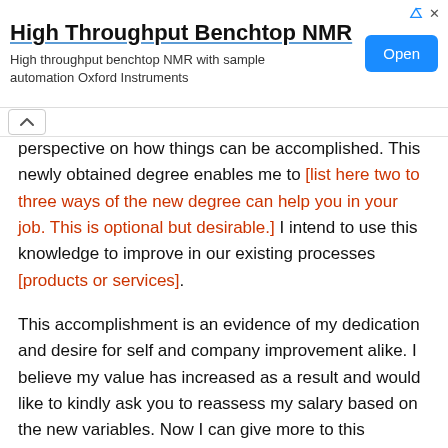[Figure (other): Advertisement banner for High Throughput Benchtop NMR by Oxford Instruments with an Open button]
perspective on how things can be accomplished. This newly obtained degree enables me to [list here two to three ways of the new degree can help you in your job. This is optional but desirable.] I intend to use this knowledge to improve in our existing processes [products or services].
This accomplishment is an evidence of my dedication and desire for self and company improvement alike. I believe my value has increased as a result and would like to kindly ask you to reassess my salary based on the new variables. Now I can give more to this respected company than I used to and would like my efforts to be acknowledged.
Thank you.